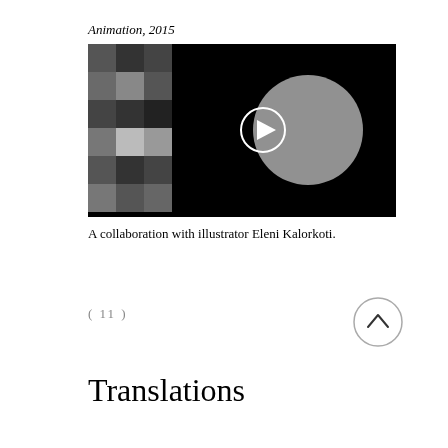Animation, 2015
[Figure (screenshot): A black-and-white animation still showing a checkerboard pattern of grey squares on the left and a large grey circle on a black background on the right, with a circular play button overlay in the center.]
A collaboration with illustrator Eleni Kalorkoti.
( 11 )
Translations